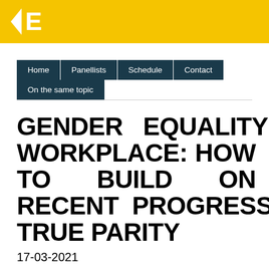[Figure (logo): Yellow header bar with a white star/arrow and letter E logo on gold/yellow background]
Home | Panellists | Schedule | Contact | On the same topic
GENDER EQUALITY IN THE WORKPLACE: HOW TO BUILD ON RECENT PROGRESS TO REACH TRUE PARITY
17-03-2021